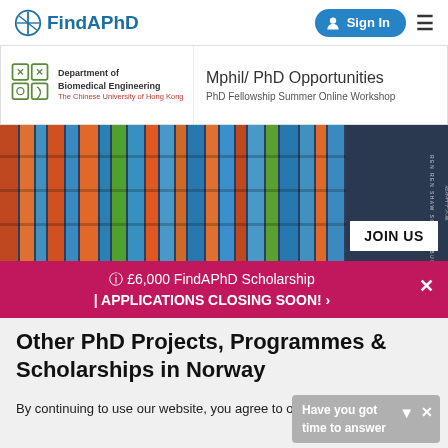FindAPhD
[Figure (screenshot): FindAPhD website screenshot showing navigation bar with logo and Sign In button]
[Figure (photo): Department of Biomedical Engineering - The Chinese University of Hong Kong banner. Mphil/PhD Opportunities - PhD Fellowship Summer Online Workshop]
[Figure (photo): Colorful modern science building exterior with orange, blue and green panels. JOIN US button overlaid.]
£6,000 FindAPhD Scholarship | APPLICATIONS CLOSING SOON! ›
Other PhD Projects, Programmes & Scholarships in Norway
By continuing to use our website, you agree to our privacy policy